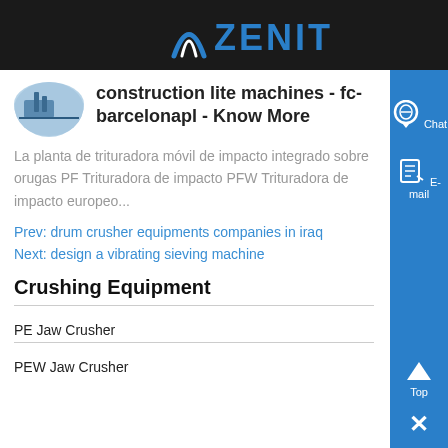ZENIT
construction lite machines - fc-barcelonapl - Know More
La planta de trituradora móvil de impacto integrado sobre orugas PF Trituradora de impacto PFW Trituradora de impacto europeo...
Prev: drum crusher equipments companies in iraq
Next: design a vibrating sieving machine
Crushing Equipment
PE Jaw Crusher
PEW Jaw Crusher